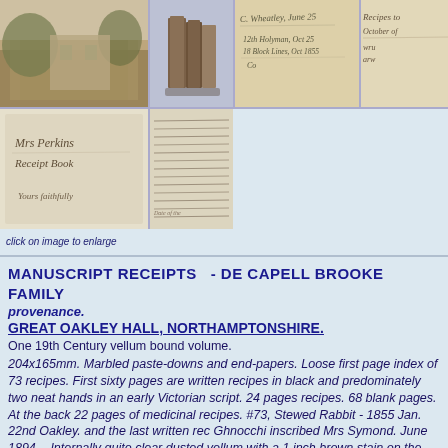[Figure (photo): Grid of historical photographs showing a country house, old leather-bound books, and pages of handwritten manuscript receipts]
click on image to enlarge
MANUSCRIPT RECEIPTS   - DE CAPELL BROOKE FAMILY
provenance.
GREAT OAKLEY HALL, NORTHAMPTONSHIRE.
One 19th Century vellum bound volume. 204x165mm. Marbled paste-downs and end-papers. Loose first page index of 73 recipes. First sixty pages are written recipes in black and predominately two neat hands in an early Victorian script. 24 pages recipes. 68 blank pages. At the back 22 pages of medicinal recipes. #73, Stewed Rabbit - 1855 Jan. 22nd Oakley. and the last written rec Ghnocchi inscribed Mrs Symond. June 1894, - Internally quite clear dusted vellum with a 1 inch brown stain on the front cover. The hinge cracked but holding well. Altogether a very interesting document wi